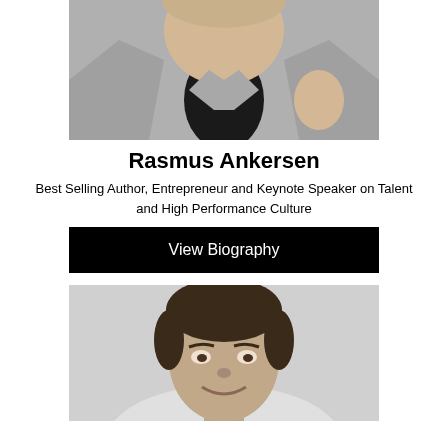[Figure (photo): Headshot photo of Rasmus Ankersen, a man in a grey blazer and black shirt, partially cropped at the top]
Rasmus Ankersen
Best Selling Author, Entrepreneur and Keynote Speaker on Talent and High Performance Culture
View Biography
[Figure (photo): Black and white headshot photo of a man with dark hair, smiling, cropped at the bottom]